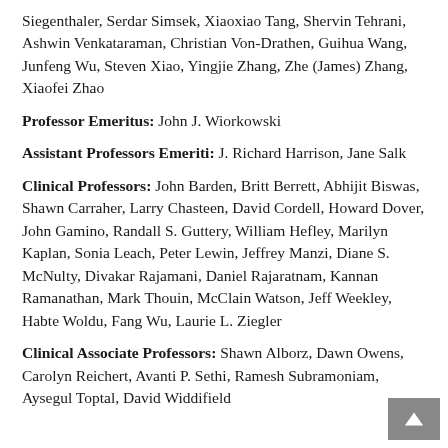Siegenthaler, Serdar Simsek, Xiaoxiao Tang, Shervin Tehrani, Ashwin Venkataraman, Christian Von-Drathen, Guihua Wang, Junfeng Wu, Steven Xiao, Yingjie Zhang, Zhe (James) Zhang, Xiaofei Zhao
Professor Emeritus: John J. Wiorkowski
Assistant Professors Emeriti: J. Richard Harrison, Jane Salk
Clinical Professors: John Barden, Britt Berrett, Abhijit Biswas, Shawn Carraher, Larry Chasteen, David Cordell, Howard Dover, John Gamino, Randall S. Guttery, William Hefley, Marilyn Kaplan, Sonia Leach, Peter Lewin, Jeffrey Manzi, Diane S. McNulty, Divakar Rajamani, Daniel Rajaratnam, Kannan Ramanathan, Mark Thouin, McClain Watson, Jeff Weekley, Habte Woldu, Fang Wu, Laurie L. Ziegler
Clinical Associate Professors: Shawn Alborz, Dawn Owens, Carolyn Reichert, Avanti P. Sethi, Ramesh Subramoniam, Aysegul Toptal, David Widdifield